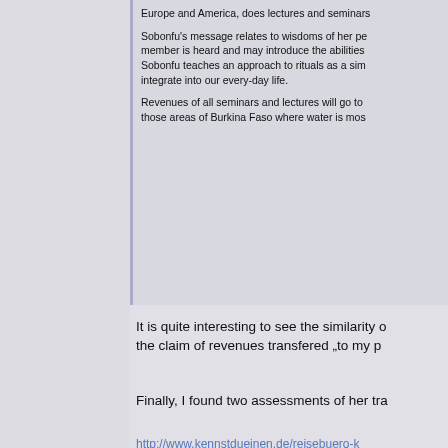Europe and America, does lectures and seminars
Sobonfu's message relates to wisdoms of her pe... member is heard and may introduce the abilities... Sobonfu teaches an approach to rituals as a sim... integrate into our every-day life.
Revenues of all seminars and lectures will go to those areas of Burkina Faso where water is mos...
It is quite interesting to see the similarity o... the claim of revenues transfered „to my p...
Finally, I found two assessments of her tra...
http://www.kennstdueinen.de/reisebuero-k... d18292.html
Quote
D.S., Munich [...], dd 01/09/2009
„Very spiritual lady, long years of contact to India...
B.B., Garmisch-Partenkirchen [...], dd 01/02/200...
„Long years of contact with Indians